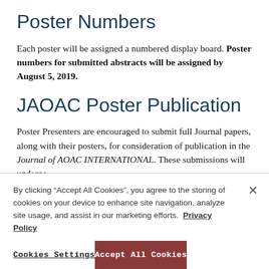Poster Numbers
Each poster will be assigned a numbered display board. Poster numbers for submitted abstracts will be assigned by August 5, 2019.
JAOAC Poster Publication
Poster Presenters are encouraged to submit full Journal papers, along with their posters, for consideration of publication in the Journal of AOAC INTERNATIONAL. These submissions will undergo
By clicking “Accept All Cookies”, you agree to the storing of cookies on your device to enhance site navigation, analyze site usage, and assist in our marketing efforts.  Privacy Policy
Cookies Settings
Accept All Cookies